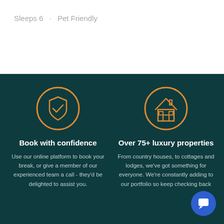Sleeps 6 · Pet Friendly
[Figure (illustration): Orange outlined shield with checkmark icon inside a circle — Book with confidence]
Book with confidence
Use our online platform to book your break, or give a member of our experienced team a call - they'd be delighted to assist you.
[Figure (illustration): Orange outlined house/home icon inside a circle — Over 75+ luxury properties]
Over 75+ luxury properties
From country houses, to cottages and lodges, we've got something for everyone. We're constantly adding to our portfolio so keep checking back